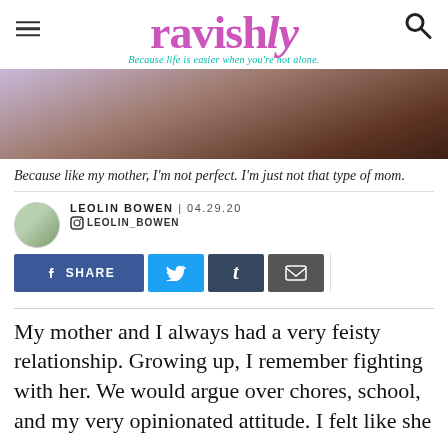ravishly — Because life is easier when you're not alone.
[Figure (photo): Partial close-up photo with purple and brown tones, appears to show a person or fabric.]
Because like my mother, I'm not perfect. I'm just not that type of mom.
LEOLIN BOWEN | 04.29.20
LEOLIN_BOWEN
My mother and I always had a very feisty relationship. Growing up, I remember fighting with her. We would argue over chores, school, and my very opinionated attitude. I felt like she